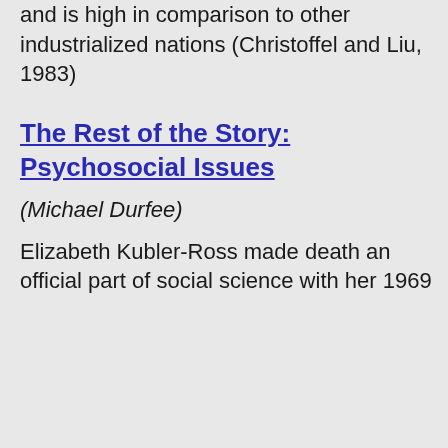and is high in comparison to other industrialized nations (Christoffel and Liu, 1983)
The Rest of the Story: Psychosocial Issues
(Michael Durfee)
Elizabeth Kubler-Ross made death an official part of social science with her 1969